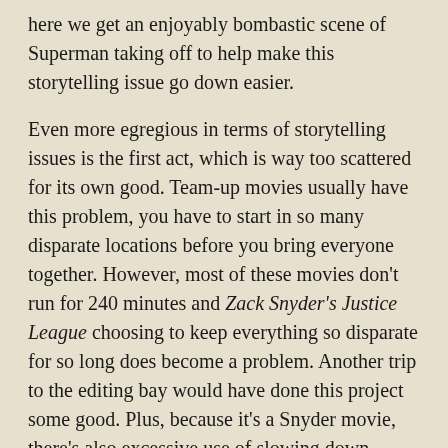here we get an enjoyably bombastic scene of Superman taking off to help make this storytelling issue go down easier.
Even more egregious in terms of storytelling issues is the first act, which is way too scattered for its own good. Team-up movies usually have this problem, you have to start in so many disparate locations before you bring everyone together. However, most of these movies don't run for 240 minutes and Zack Snyder's Justice League choosing to keep everything so disparate for so long does become a problem. Another trip to the editing bay would have done this project some good. Plus, because it's a Snyder movie, there's also excessive use of slowing down action and then speeding it back up again as well as some amusingly on-the-nose needle drops.
Previously, Snyder did attempts at the deconstruction of DC Comics icons. They never quite worked for me because I never got any sense of the larger themes Synder wanted to tackle while the characters never registered as people. With his own take on Justice League, Snyder's taken a cue from his best work in lieu of the Snyder cuts and has...